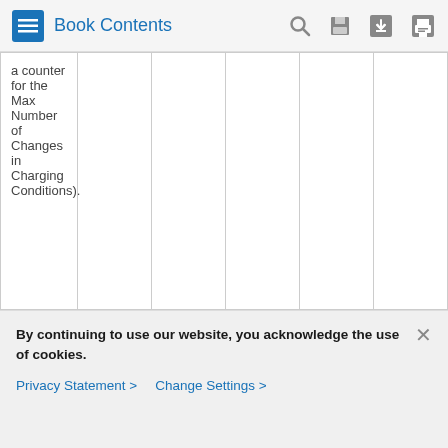Book Contents
| a counter for the Max Number of Changes in Charging Conditions). |  |  |  |  |  |
By continuing to use our website, you acknowledge the use of cookies.
Privacy Statement > Change Settings >